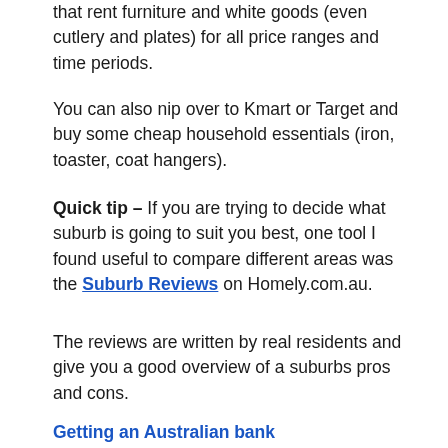that rent furniture and white goods (even cutlery and plates) for all price ranges and time periods.
You can also nip over to Kmart or Target and buy some cheap household essentials (iron, toaster, coat hangers).
Quick tip – If you are trying to decide what suburb is going to suit you best, one tool I found useful to compare different areas was the Suburb Reviews on Homely.com.au.
The reviews are written by real residents and give you a good overview of a suburbs pros and cons.
Getting an Australian bank